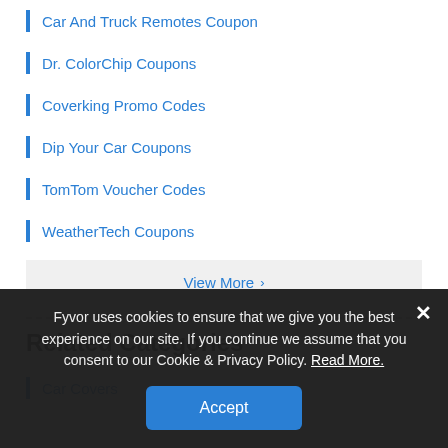Car And Truck Remotes Coupon
Dr. ColorChip Coupons
Coverking Promo Codes
Dip Your Car Coupons
TomTom Voucher Codes
WeatherTech Coupons
View More
Related Categories
Car Covers
Fyvor uses cookies to ensure that we give you the best experience on our site. If you continue we assume that you consent to our Cookie & Privacy Policy. Read More.
Accept